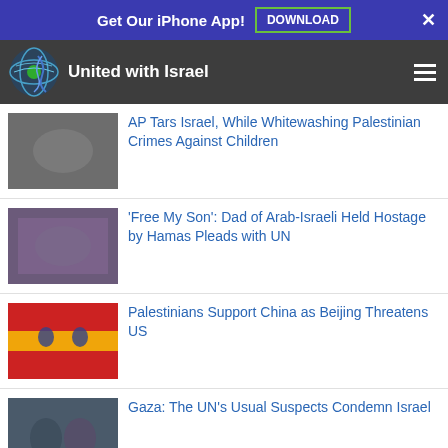Get Our iPhone App! DOWNLOAD ×
United with Israel
AP Tars Israel, While Whitewashing Palestinian Crimes Against Children
'Free My Son': Dad of Arab-Israeli Held Hostage by Hamas Pleads with UN
Palestinians Support China as Beijing Threatens US
Gaza: The UN's Usual Suspects Condemn Israel
0 Comments   Sort by Newest